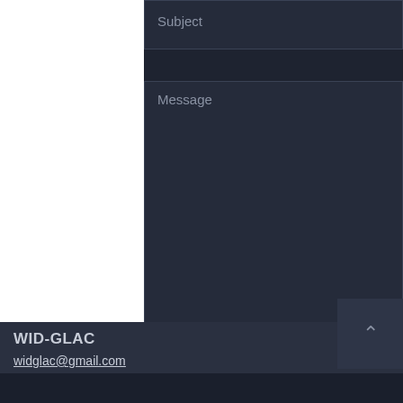[Figure (screenshot): Web contact form showing a Subject input field (empty, with placeholder text 'Subject'), a large Message textarea (empty, with placeholder text 'Message'), and a Send button. Below is a footer with organization name 'WID-GLAC' and email 'widglac@gmail.com'. A scroll-to-top button with a caret/arrow icon is visible in the lower right.]
Subject
Message
Send
WID-GLAC
widglac@gmail.com